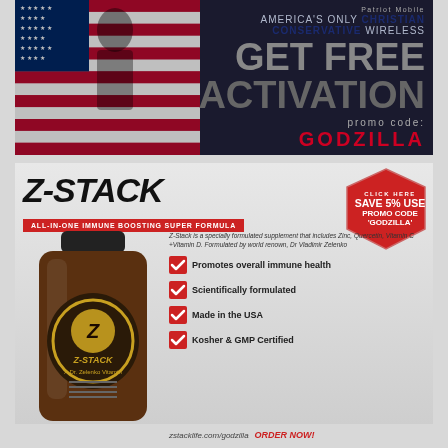[Figure (infographic): Top advertisement banner for Christian Conservative Wireless with American flag background. Text: AMERICA'S ONLY CHRISTIAN CONSERVATIVE WIRELESS, GET FREE ACTIVATION, promo code: GODZILLA]
[Figure (infographic): Z-STACK supplement advertisement. Shows Z-STACK bottle, badge with SAVE 5% USE PROMO CODE GODZILLA, red banner ALL-IN-ONE IMMUNE BOOSTING SUPER FORMULA, description text, checkmarks for: Promotes overall immune health, Scientifically formulated, Made in the USA, Kosher & GMP Certified, footer with zstacklife.com/godzilla ORDER NOW!]